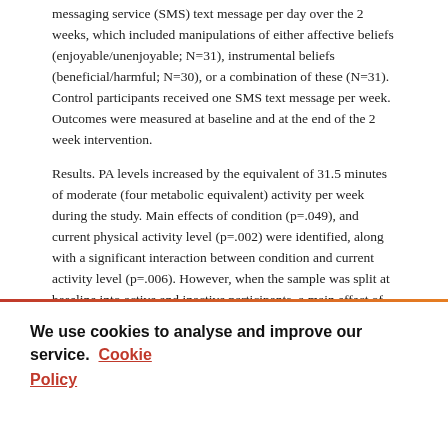messaging service (SMS) text message per day over the 2 weeks, which included manipulations of either affective beliefs (enjoyable/unenjoyable; N=31), instrumental beliefs (beneficial/harmful; N=30), or a combination of these (N=31). Control participants received one SMS text message per week. Outcomes were measured at baseline and at the end of the 2 week intervention.
Results. PA levels increased by the equivalent of 31.5 minutes of moderate (four metabolic equivalent) activity per week during the study. Main effects of condition (p=.049), and current physical activity level (p=.002) were identified, along with a significant interaction between condition and current activity level (p=.006). However, when the sample was split at baseline into active and inactive participants, a main effect of condition remained for inactive participants only (p=.001). Post hoc analysis revealed that inactive participants who received messages targeting
We use cookies to analyse and improve our service. Cookie Policy